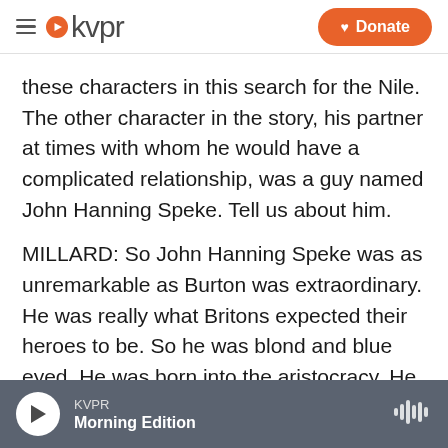kvpr | Donate
these characters in this search for the Nile. The other character in the story, his partner at times with whom he would have a complicated relationship, was a guy named John Hanning Speke. Tell us about him.
MILLARD: So John Hanning Speke was as unremarkable as Burton was extraordinary. He was really what Britons expected their heroes to be. So he was blond and blue eyed. He was born into the aristocracy. He was an officer in the British army. And he was an avid hunter. That was really what he loved to do. Everywhere he traveled, he would try to
KVPR Morning Edition